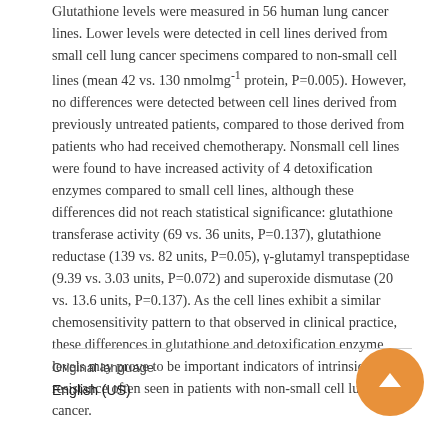Glutathione levels were measured in 56 human lung cancer lines. Lower levels were detected in cell lines derived from small cell lung cancer specimens compared to non-small cell lines (mean 42 vs. 130 nmolmg⁻¹ protein, P=0.005). However, no differences were detected between cell lines derived from previously untreated patients, compared to those derived from patients who had received chemotherapy. Nonsmall cell lines were found to have increased activity of 4 detoxification enzymes compared to small cell lines, although these differences did not reach statistical significance: glutathione transferase activity (69 vs. 36 units, P=0.137), glutathione reductase (139 vs. 82 units, P=0.05), γ-glutamyl transpeptidase (9.39 vs. 3.03 units, P=0.072) and superoxide dismutase (20 vs. 13.6 units, P=0.137). As the cell lines exhibit a similar chemosensitivity pattern to that observed in clinical practice, these differences in glutathione and detoxification enzyme levels may prove to be important indicators of intrinsic drug resistance often seen in patients with non-small cell lung cancer.
Original language
English (US)